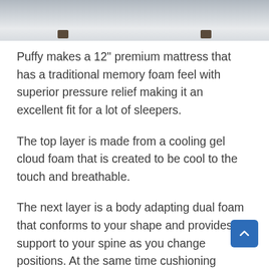[Figure (photo): Partial view of a gray sofa/bed frame against a light floor background, showing the bottom portion with dark legs]
Puffy makes a 12" premium mattress that has a traditional memory foam feel with superior pressure relief making it an excellent fit for a lot of sleepers.
The top layer is made from a cooling gel cloud foam that is created to be cool to the touch and breathable.
The next layer is a body adapting dual foam that conforms to your shape and provides support to your spine as you change positions. At the same time cushioning pressure points.
Below that layer is a climate comfort foam that adds